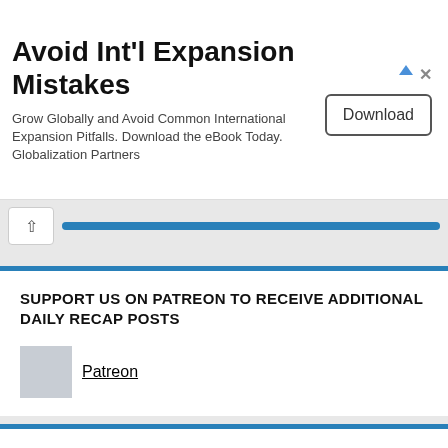[Figure (other): Advertisement banner: Avoid Int'l Expansion Mistakes. Grow Globally and Avoid Common International Expansion Pitfalls. Download the eBook Today. Globalization Partners. Download button on right.]
SUPPORT US ON PATREON TO RECEIVE ADDITIONAL DAILY RECAP POSTS
Patreon
FOLLOW US!
Facebook